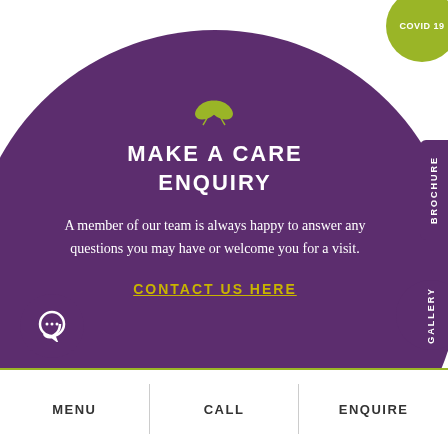[Figure (illustration): Green circular badge in top-right corner labeled COVID 19]
[Figure (illustration): Large purple circle containing leaf icon, heading 'MAKE A CARE ENQUIRY', body text, and contact link. Also includes BROCHURE and GALLERY sidebar tabs, and a small chat circle.]
MAKE A CARE ENQUIRY
A member of our team is always happy to answer any questions you may have or welcome you for a visit.
CONTACT US HERE
MENU  CALL  ENQUIRE